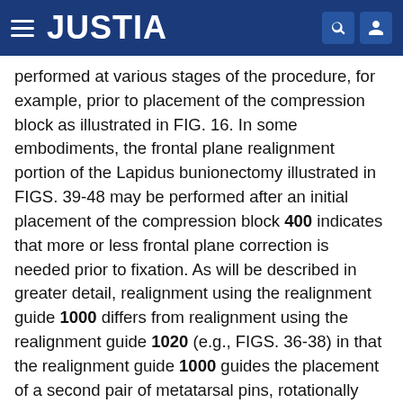JUSTIA
performed at various stages of the procedure, for example, prior to placement of the compression block as illustrated in FIG. 16. In some embodiments, the frontal plane realignment portion of the Lapidus bunionectomy illustrated in FIGS. 39-48 may be performed after an initial placement of the compression block 400 indicates that more or less frontal plane correction is needed prior to fixation. As will be described in greater detail, realignment using the realignment guide 1000 differs from realignment using the realignment guide 1020 (e.g., FIGS. 36-38) in that the realignment guide 1000 guides the placement of a second pair of metatarsal pins, rotationally displaced relative to the initial pair of metatarsal pins, which may then be used in combination with the compression block 400 to complete the frontal plane realignment.